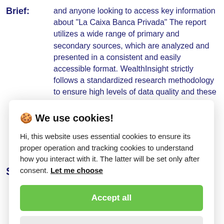and anyone looking to access key information about "La Caixa Banca Privada" The report utilizes a wide range of primary and secondary sources, which are analyzed and presented in a consistent and easily accessible format. WealthInsight strictly follows a standardized research methodology to ensure high levels of data quality and these characteristics guarantee a unique report.
S
LCBP offers various private banking and wealth management services to high net worth individuals
[Figure (screenshot): Cookie consent overlay dialog with title '🍪 We use cookies!', body text about essential and tracking cookies, a 'Let me choose' link, an 'Accept all' green button, and a 'Reject all' grey button.]